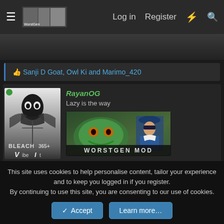Log in  Register
Sanji D Goat, Owl Ki and Marimo_420
RayanOG
Lazy is the way
WORSTGEN MOD
This site uses cookies to help personalise content, tailor your experience and to keep you logged in if you register.
By continuing to use this site, you are consenting to our use of cookies.
Accept  Learn more...